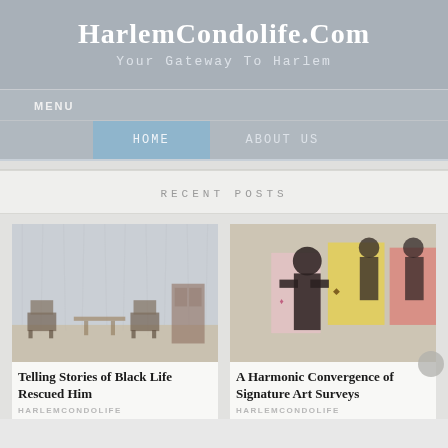HarlemCondolife.Com
Your Gateway To Harlem
MENU
HOME    ABOUT US
RECENT POSTS
[Figure (photo): Interior room with chairs and a cabinet against a textured wall, gallery setting]
Telling Stories of Black Life Rescued Him
HARLEMCONDOLIFE
[Figure (photo): Silhouette figures and colorful artwork panels in a gallery exhibition]
A Harmonic Convergence of Signature Art Surveys
HARLEMCONDOLIFE